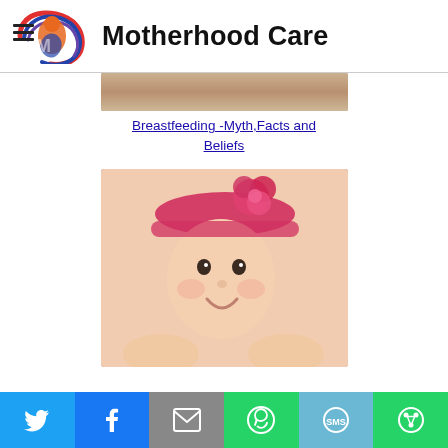Motherhood Care
[Figure (photo): Partial cropped photo of a breastfeeding-related image at the top of the article card]
Breastfeeding -Myth,Facts and Beliefs
[Figure (photo): Photo of a smiling baby wearing a pink/red flower headband, lying on stomach with head up]
Social share buttons: Twitter, Facebook, Email, WhatsApp, SMS, More